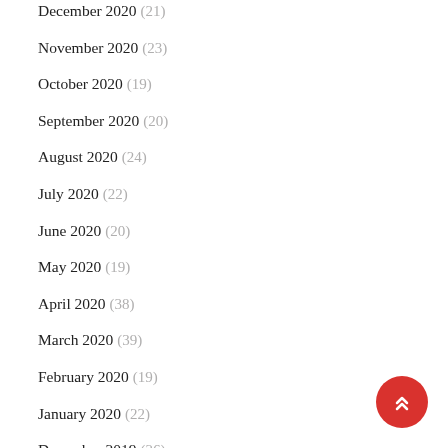December 2020 (21)
November 2020 (23)
October 2020 (19)
September 2020 (20)
August 2020 (24)
July 2020 (22)
June 2020 (20)
May 2020 (19)
April 2020 (38)
March 2020 (39)
February 2020 (19)
January 2020 (22)
December 2019 (26)